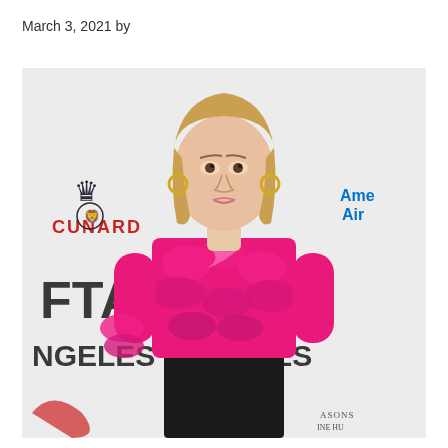March 3, 2021 by
[Figure (photo): A blonde woman wearing a bright pink ruffled blouse with a bow tie and black skirt, standing at a BAFTA Los Angeles event backdrop featuring logos including CUNARD and American Airlines.]